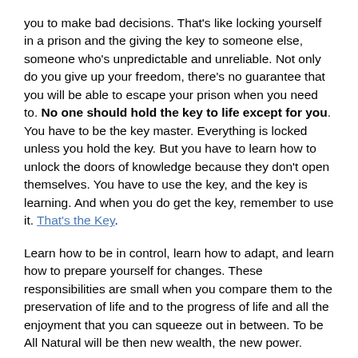you to make bad decisions. That's like locking yourself in a prison and the giving the key to someone else, someone who's unpredictable and unreliable. Not only do you give up your freedom, there's no guarantee that you will be able to escape your prison when you need to. No one should hold the key to life except for you. You have to be the key master. Everything is locked unless you hold the key. But you have to learn how to unlock the doors of knowledge because they don't open themselves. You have to use the key, and the key is learning. And when you do get the key, remember to use it. That's the Key.
Learn how to be in control, learn how to adapt, and learn how to prepare yourself for changes. These responsibilities are small when you compare them to the preservation of life and to the progress of life and all the enjoyment that you can squeeze out in between. To be All Natural will be then new wealth, the new power.
Do what you Love, and Love what you do. But just don't do something because it feels good, do it because it is good, and not just good for you, but good for everything.